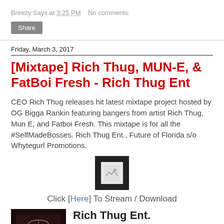Breezy Says at 3:25 PM   No comments:
Share
Friday, March 3, 2017
[Mixtape] Rich Thug, MUN-E, & FatBoi Fresh - Rich Thug Ent
CEO Rich Thug releases hit latest mixtape project hosted by OG Bigga Rankin featuring bangers from artist Rich Thug, Mun E, and Fatboi Fresh. This mixtape is for all the #SelfMadeBosses. Rich Thug Ent., Future of Florida s/o Whytegurl Promotions.
[Figure (photo): Broken/placeholder image in dark box]
Click [Here] To Stream / Download
[Figure (photo): Dark thumbnail image with jewelry/chain visible]
Rich Thug Ent.